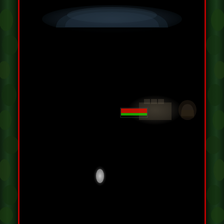[Figure (photo): A very dark, nearly black scene resembling a game screenshot or cinematic image. The outer border has a dark green foliage/ivy texture on the left and right sides with a bright red vertical stripe near each edge. The top portion shows a faintly lit archway or tunnel opening with a dim bluish-gray glow. In the middle of the dark interior, there are three faintly visible elements: a small red and green horizontal bar (like a HUD health/ammo indicator), a dimly lit structure or building in the center-right background, and a small arch-shaped doorway further right. Near the bottom-center, there is a faint white glowing object or figure.]